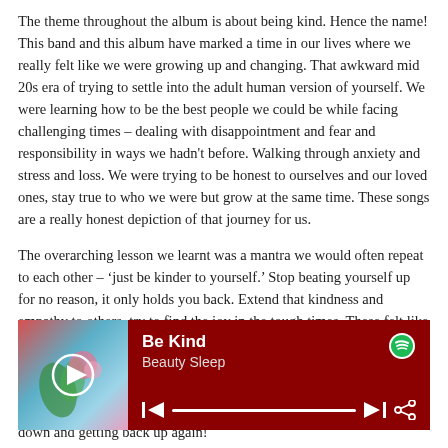The theme throughout the album is about being kind. Hence the name! This band and this album have marked a time in our lives where we really felt like we were growing up and changing. That awkward mid 20s era of trying to settle into the adult human version of yourself. We were learning how to be the best people we could be while facing challenging times – dealing with disappointment and fear and responsibility in ways we hadn't before. Walking through anxiety and stress and loss. We were trying to be honest to ourselves and our loved ones, stay true to who we were but grow at the same time. These songs are a really honest depiction of that journey for us.
The overarching lesson we learnt was a mantra we would often repeat to each other – 'just be kinder to yourself.' Stop beating yourself up for no reason, it only holds you back. Extend that kindness and empathy to others, try to find the joy in the tough times. These felt like the most important lessons to hold onto and send out into the world in our music. So it felt fitting to call the album Be Kind. We hope people get some empowering comfort from the songs as they walk through their own journey. The whole album is a celebration of us feeling down and getting back up again!
[Figure (screenshot): Spotify player widget showing album art for 'Be Kind' by Beauty Sleep with playback controls on a dark red background.]